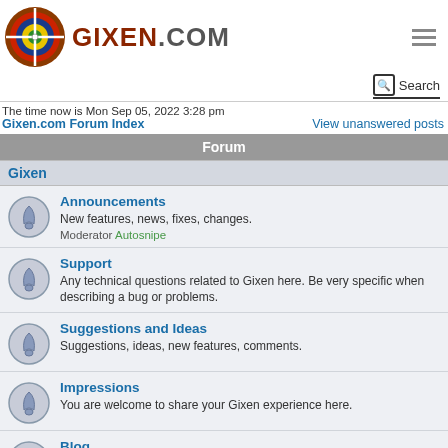[Figure (logo): Gixen.com logo with target/archery icon and GIXEN.COM text]
The time now is Mon Sep 05, 2022 3:28 pm
Gixen.com Forum Index    View unanswered posts
Forum
Gixen
Announcements
New features, news, fixes, changes.
Moderator Autosnipe
Support
Any technical questions related to Gixen here. Be very specific when describing a bug or problems.
Suggestions and Ideas
Suggestions, ideas, new features, comments.
Impressions
You are welcome to share your Gixen experience here.
Blog
Mario's Gixen Blog for Gixen enthusiasts. Read & post your comments.